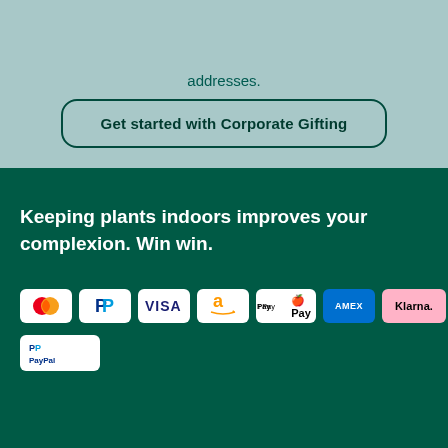addresses.
Get started with Corporate Gifting
Keeping plants indoors improves your complexion. Win win.
[Figure (logo): Payment method logos: Mastercard, PayPal, VISA, Amazon Pay, Apple Pay, AMEX, Klarna, PayPal Credit]